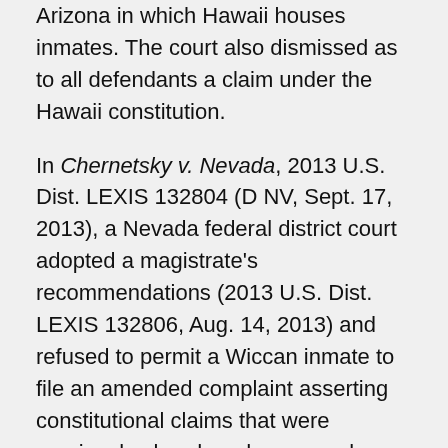Arizona in which Hawaii houses inmates. The court also dismissed as to all defendants a claim under the Hawaii constitution.
In Chernetsky v. Nevada, 2013 U.S. Dist. LEXIS 132804 (D NV, Sept. 17, 2013), a Nevada federal district court adopted a magistrate's recommendations (2013 U.S. Dist. LEXIS 132806, Aug. 14, 2013) and refused to permit a Wiccan inmate to file an amended complaint asserting constitutional claims that were previously abandoned on appeal.
In Muhammad v. Jenkins, 2013 U.S. Dist. LEXIS 132913 (SD NY, Sept. 13, 2013), a New York federal district court denied qualified immunity in a suit against a parole officer who allegedly for retaliatory reasons barred a Nation of Islam parolee from attending the mosque of his choice and refused to extend his curfew so he could attend evening classes there. Claims against the parole